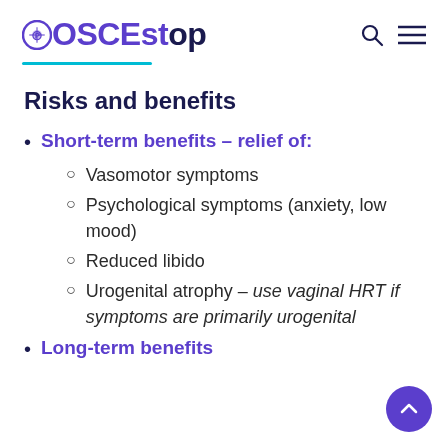OSCEstop
Risks and benefits
Short-term benefits – relief of:
Vasomotor symptoms
Psychological symptoms (anxiety, low mood)
Reduced libido
Urogenital atrophy – use vaginal HRT if symptoms are primarily urogenital
Long-term benefits